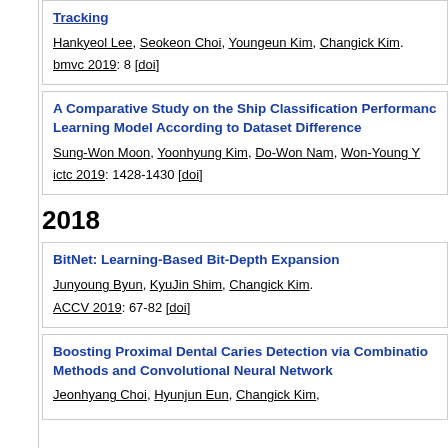Tracking
Hankyeol Lee, Seokeon Choi, Youngeun Kim, Changick Kim.
bmvc 2019: 8 [doi]
A Comparative Study on the Ship Classification Performance Learning Model According to Dataset Difference
Sung-Won Moon, Yoonhyung Kim, Do-Won Nam, Won-Young Y
ictc 2019: 1428-1430 [doi]
2018
BitNet: Learning-Based Bit-Depth Expansion
Junyoung Byun, KyuJin Shim, Changick Kim.
ACCV 2019: 67-82 [doi]
Boosting Proximal Dental Caries Detection via Combination Methods and Convolutional Neural Network
Jeonhyang Choi, Hyunjun Eun, Changick Kim,